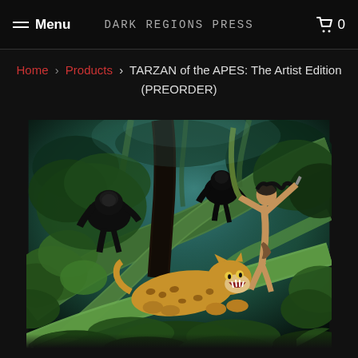Menu | Dark Regions Press | 🛒 0
Home > Products > TARZAN of the APES: The Artist Edition (PREORDER)
[Figure (illustration): Fantasy jungle scene with Tarzan swinging on vines wielding a knife, two gorillas on tree branches, a leopard below, surrounded by dense tropical green foliage and teal-lit atmosphere.]